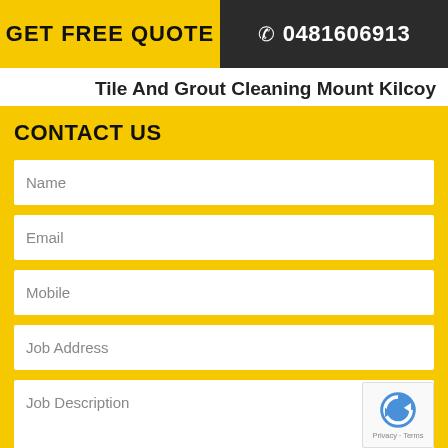GET FREE QUOTE  0481606913
Tile And Grout Cleaning Mount Kilcoy
CONTACT US
Name
Email
Mobile
Job Address
Job Description